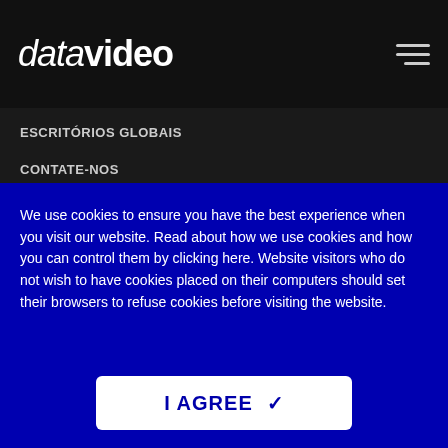datavideo
ESCRITÓRIOS GLOBAIS
CONTATE-NOS
ONDE COMPRAR
POLÍTICA DE PRIVACIDADE
SIGA-NOS
We use cookies to ensure you have the best experience when you visit our website. Read about how we use cookies and how you can control them by clicking here. Website visitors who do not wish to have cookies placed on their computers should set their browsers to refuse cookies before visiting the website.
I AGREE ✓